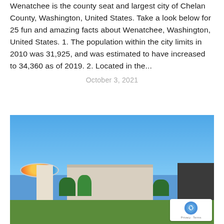Wenatchee is the county seat and largest city of Chelan County, Washington, United States. Take a look below for 25 fun and amazing facts about Wenatchee, Washington, United States. 1. The population within the city limits in 2010 was 31,925, and was estimated to have increased to 34,360 as of 2019. 2. Located in the...
October 3, 2021
[Figure (photo): Street-level photo of Wenatchee, Washington showing commercial buildings including a modern low-rise structure with beige and dark brown paneling, a circular colorful sign on a pole at left, dark building at right, trees, green lawn, and a clear blue sky. A reCAPTCHA Privacy-Terms badge appears in the bottom right corner.]